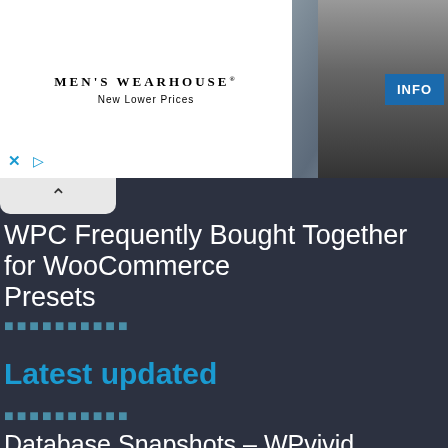[Figure (screenshot): Men's Wearhouse advertisement banner showing a couple in formal wear and a man in a suit, with INFO button and ad controls]
WPC Frequently Bought Together for WooCommerce
Presets
★★★★★★★★★★
Latest updated
★★★★★★★★★★
Database Snapshots – WPvivid
WPC Price by User Role for WooCommerce